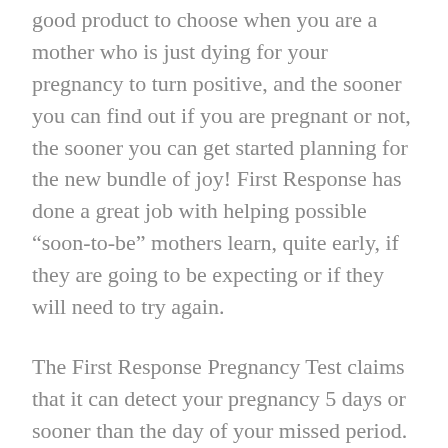good product to choose when you are a mother who is just dying for your pregnancy to turn positive, and the sooner you can find out if you are pregnant or not, the sooner you can get started planning for the new bundle of joy! First Response has done a great job with helping possible “soon-to-be” mothers learn, quite early, if they are going to be expecting or if they will need to try again.
The First Response Pregnancy Test claims that it can detect your pregnancy 5 days or sooner than the day of your missed period. Before you think that you are going to find out if you are pregnant 5 days before your missed period you must remember the statistics that First Response uses to back their tests. First